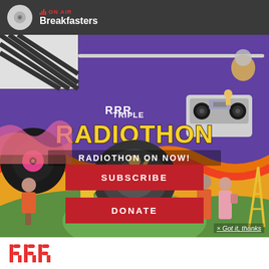ON AIR — Breakfasters
[Figure (illustration): RRR Radiothon 2022 promotional illustration with colorful cartoon characters, vinyl record, boombox, wavy orange/red/pink flames on purple background. Text: RADIOTHON ON NOW!]
SUBSCRIBE
DONATE
× Got it, thanks
[Figure (logo): RRR logo at bottom of page — red vertical bars forming stylized RRR letters]